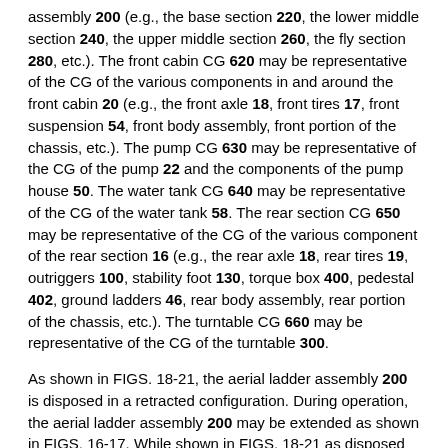assembly 200 (e.g., the base section 220, the lower middle section 240, the upper middle section 260, the fly section 280, etc.). The front cabin CG 620 may be representative of the CG of the various components in and around the front cabin 20 (e.g., the front axle 18, front tires 17, front suspension 54, front body assembly, front portion of the chassis, etc.). The pump CG 630 may be representative of the CG of the pump 22 and the components of the pump house 50. The water tank CG 640 may be representative of the CG of the water tank 58. The rear section CG 650 may be representative of the CG of the various component of the rear section 16 (e.g., the rear axle 18, rear tires 19, outriggers 100, stability foot 130, torque box 400, pedestal 402, ground ladders 46, rear body assembly, rear portion of the chassis, etc.). The turntable CG 660 may be representative of the CG of the turntable 300.
As shown in FIGS. 18-21, the aerial ladder assembly 200 is disposed in a retracted configuration. During operation, the aerial ladder assembly 200 may be extended as shown in FIGS. 16-17. While shown in FIGS. 18-21 as disposed in the retracted configuration, it should be understood that the aerial ladder assembly 200 may be extended during